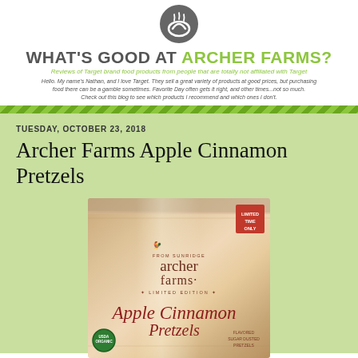[Figure (logo): Bowl with steam icon — blog logo for What's Good at Archer Farms?]
WHAT'S GOOD AT ARCHER FARMS?
Reviews of Target brand food products from people that are totally not affiliated with Target
Hello. My name's Nathan, and I love Target. They sell a great variety of products at good prices, but purchasing food there can be a gamble sometimes. Favorite Day often gets it right, and other times...not so much. Check out this blog to see which products I recommend and which ones I don't.
TUESDAY, OCTOBER 23, 2018
Archer Farms Apple Cinnamon Pretzels
[Figure (photo): Photo of an Archer Farms Apple Cinnamon Pretzels bag — Limited Edition, Limited Time Only, with red 'Limited Time Only' badge in upper right corner.]